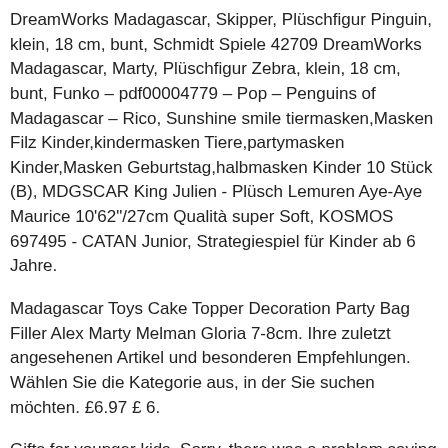DreamWorks Madagascar, Skipper, Plüschfigur Pinguin, klein, 18 cm, bunt, Schmidt Spiele 42709 DreamWorks Madagascar, Marty, Plüschfigur Zebra, klein, 18 cm, bunt, Funko – pdf00004779 – Pop – Penguins of Madagascar – Rico, Sunshine smile tiermasken,Masken Filz Kinder,kindermasken Tiere,partymasken Kinder,Masken Geburtstag,halbmasken Kinder 10 Stück (B), MDGSCAR King Julien - Plüsch Lemuren Aye-Aye Maurice 10'62"/27cm Qualità super Soft, KOSMOS 697495 - CATAN Junior, Strategiespiel für Kinder ab 6 Jahre.
Madagascar Toys Cake Topper Decoration Party Bag Filler Alex Marty Melman Gloria 7-8cm. Ihre zuletzt angesehenen Artikel und besonderen Empfehlungen. Wählen Sie die Kategorie aus, in der Sie suchen möchten. £6.97 £ 6.
Gifts for younger kids. Sorry, there was a problem saving your cookie preferences. Register with us and make your visits to Argos.ie even quicker and easier! visit our most up to date returns policy here. Ages: 3 years and up. Mai. McDonalds Happy Meal 2008 Madagascar 2 Escape